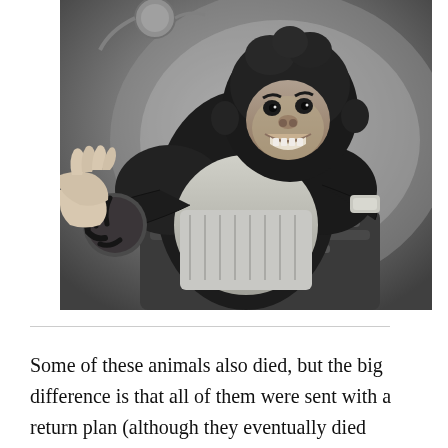[Figure (photo): Black and white photograph of a chimpanzee wearing a space suit or harness, being held or restrained by human hands. The chimp appears to be looking at the camera with its mouth slightly open.]
Some of these animals also died, but the big difference is that all of them were sent with a return plan (although they eventually died accidentally), while Laika was destined to